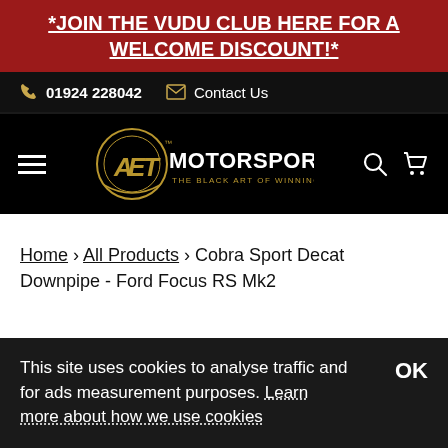*JOIN THE VUDU CLUB HERE FOR A WELCOME DISCOUNT!*
01924 228042   Contact Us
[Figure (logo): AET Motorsport logo - gold circular emblem with AET letters, text MOTORSPORT THE BLACK ART OF WINNING]
Home › All Products › Cobra Sport Decat Downpipe - Ford Focus RS Mk2
This site uses cookies to analyse traffic and for ads measurement purposes. Learn more about how we use cookies  OK